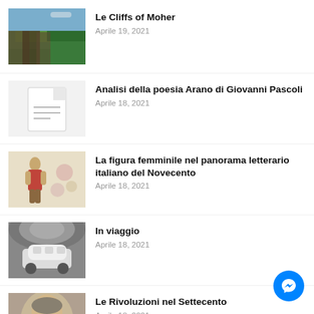[Figure (photo): Cliffs of Moher landscape photo with green grass and rocky cliffs]
Le Cliffs of Moher
Aprile 19, 2021
[Figure (illustration): Document placeholder icon with lines on grey background]
Analisi della poesia Arano di Giovanni Pascoli
Aprile 18, 2021
[Figure (illustration): Vintage floral illustration with feminine figure]
La figura femminile nel panorama letterario italiano del Novecento
Aprile 18, 2021
[Figure (photo): Black and white photo of a train or futuristic vehicle in a large hall]
In viaggio
Aprile 18, 2021
[Figure (photo): Portrait photo of an older man in historical style, partially visible]
Le Rivoluzioni nel Settecento
Aprile 18, 2021